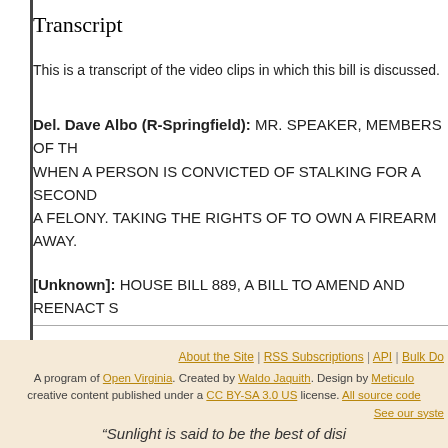Transcript
This is a transcript of the video clips in which this bill is discussed.
Del. Dave Albo (R-Springfield): MR. SPEAKER, MEMBERS OF TH... WHEN A PERSON IS CONVICTED OF STALKING FOR A SECOND... A FELONY. TAKING THE RIGHTS OF TO OWN A FIREARM AWAY.
[Unknown]: HOUSE BILL 889, A BILL TO AMEND AND REENACT S...
About the Site | RSS Subscriptions | API | Bulk Do... A program of Open Virginia. Created by Waldo Jaquith. Design by Meticulo... creative content published under a CC BY-SA 3.0 US license. All source code... See our syste... “Sunlight is said to be the best of disi...